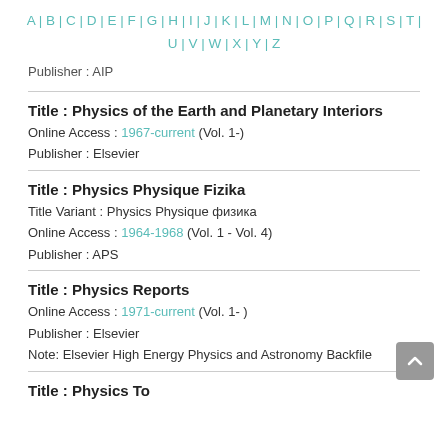A | B | C | D | E | F | G | H | I | J | K | L | M | N | O | P | Q | R | S | T | U | V | W | X | Y | Z
Publisher : AIP
Title : Physics of the Earth and Planetary Interiors
Online Access : 1967-current (Vol. 1-)
Publisher : Elsevier
Title : Physics Physique Fizika
Title Variant : Physics Physique физика
Online Access : 1964-1968 (Vol. 1 - Vol. 4)
Publisher : APS
Title : Physics Reports
Online Access : 1971-current (Vol. 1- )
Publisher : Elsevier
Note: Elsevier High Energy Physics and Astronomy Backfile
Title : Physics To...